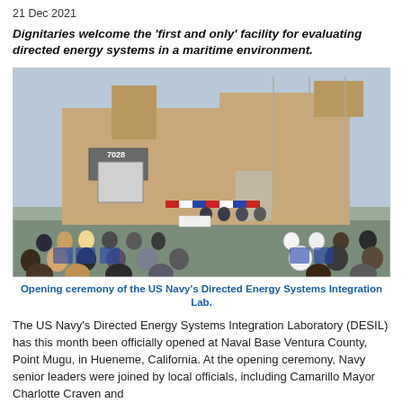21 Dec 2021
Dignitaries welcome the 'first and only' facility for evaluating directed energy systems in a maritime environment.
[Figure (photo): Opening ceremony of the US Navy's Directed Energy Systems Integration Lab (DESIL) at Naval Base Ventura County, Point Mugu. People are seated in rows of blue chairs facing a brick building numbered 7028, with officials seated at a table near the building entrance decorated with patriotic bunting.]
Opening ceremony of the US Navy's Directed Energy Systems Integration Lab.
The US Navy's Directed Energy Systems Integration Laboratory (DESIL) has this month been officially opened at Naval Base Ventura County, Point Mugu, in Hueneme, California. At the opening ceremony, Navy senior leaders were joined by local officials, including Camarillo Mayor Charlotte Craven and